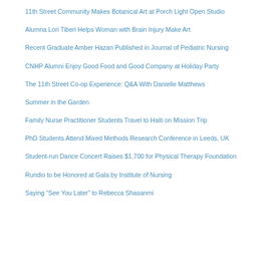11th Street Community Makes Botanical Art at Porch Light Open Studio
Alumna Lori Tiberi Helps Woman with Brain Injury Make Art
Recent Graduate Amber Hazan Published in Journal of Pediatric Nursing
CNHP Alumni Enjoy Good Food and Good Company at Holiday Party
The 11th Street Co-op Experience: Q&A With Danielle Matthews
Summer in the Garden
Family Nurse Practitioner Students Travel to Haiti on Mission Trip
PhD Students Attend Mixed Methods Research Conference in Leeds, UK
Student-run Dance Concert Raises $1,700 for Physical Therapy Foundation
Rundio to be Honored at Gala by Institute of Nursing
Saying “See You Later” to Rebecca Shasanmi